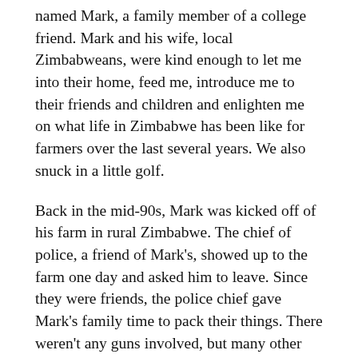named Mark, a family member of a college friend. Mark and his wife, local Zimbabweans, were kind enough to let me into their home, feed me, introduce me to their friends and children and enlighten me on what life in Zimbabwe has been like for farmers over the last several years. We also snuck in a little golf.
Back in the mid-90s, Mark was kicked off of his farm in rural Zimbabwe. The chief of police, a friend of Mark's, showed up to the farm one day and asked him to leave. Since they were friends, the police chief gave Mark's family time to pack their things. There weren't any guns involved, but many other farmers were not as fortunate.